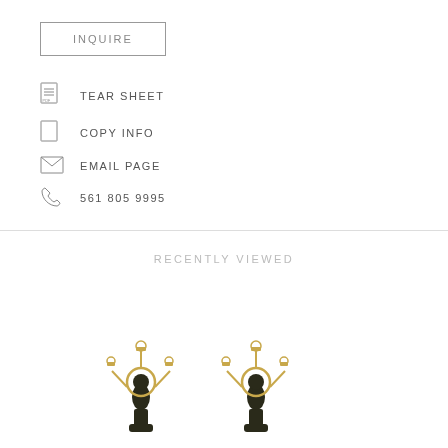INQUIRE
TEAR SHEET
COPY INFO
EMAIL PAGE
561 805 9995
RECENTLY VIEWED
[Figure (photo): Two ornate figural candelabras with gold/brass accents and dark patinated figurine bases, each with two candle holders]